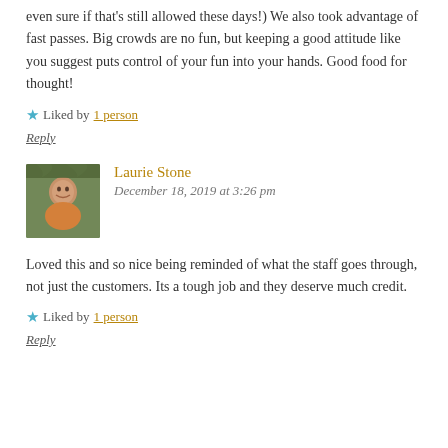even sure if that’s still allowed these days!) We also took advantage of fast passes. Big crowds are no fun, but keeping a good attitude like you suggest puts control of your fun into your hands. Good food for thought!
★ Liked by 1 person
Reply
Laurie Stone
December 18, 2019 at 3:26 pm
Loved this and so nice being reminded of what the staff goes through, not just the customers. Its a tough job and they deserve much credit.
★ Liked by 1 person
Reply